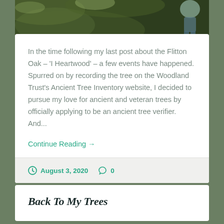[Figure (photo): Top portion of an outdoor nature photo showing trees, vegetation, and a partial view of a person in the upper right corner]
In the time following my last post about the Flitton Oak – 'I Heartwood' – a few events have happened. Spurred on by recording the tree on the Woodland Trust's Ancient Tree Inventory website, I decided to pursue my love for ancient and veteran trees by officially applying to be an ancient tree verifier. And...
Continue Reading →
August 3, 2020   0
Back To My Trees